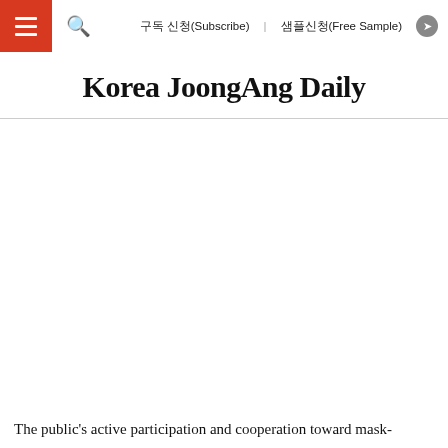구독 신청(Subscribe)   샘플신청(Free Sample)
Korea JoongAng Daily
[Figure (photo): Large white/blank image area in the center of the page]
The public's active participation and cooperation toward mask-